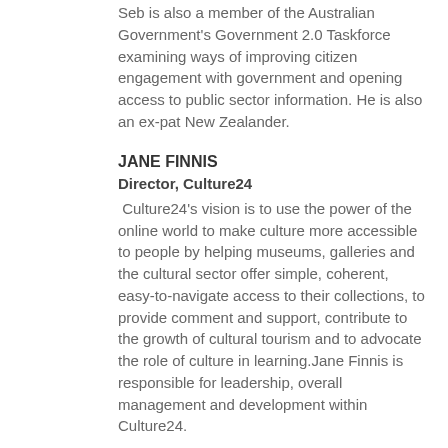Seb is also a member of the Australian Government's Government 2.0 Taskforce examining ways of improving citizen engagement with government and opening access to public sector information. He is also an ex-pat New Zealander.
JANE FINNIS
Director, Culture24
Culture24's vision is to use the power of the online world to make culture more accessible to people by helping museums, galleries and the cultural sector offer simple, coherent, easy-to-navigate access to their collections, to provide comment and support, contribute to the growth of cultural tourism and to advocate the role of culture in learning.Jane Finnis is responsible for leadership, overall management and development within Culture24.
She is also leading Culture24's work with MLA and others on a joined-up digital strategy for the future development of museums, libraries and